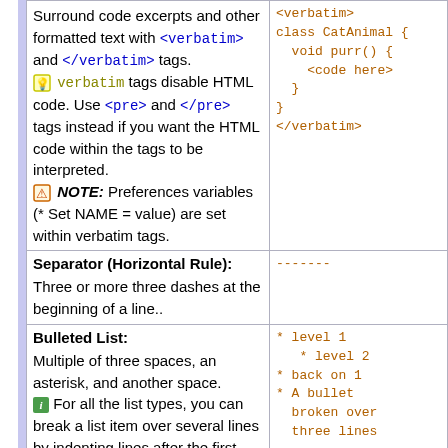Verbatim (Literal) Text: Surround code excerpts and other formatted text with <verbatim> and </verbatim> tags. verbatim tags disable HTML code. Use <pre> and </pre> tags instead if you want the HTML code within the tags to be interpreted. NOTE: Preferences variables (* Set NAME = value) are set within verbatim tags.
<verbatim>
class CatAnimal {
  void purr() {
    <code here>
  }
}
</verbatim>
Separator (Horizontal Rule):
Three or more three dashes at the beginning of a line..
-------
Bulleted List:
Multiple of three spaces, an asterisk, and another space. For all the list types, you can break a list item over several lines by indenting lines after the first one by at least 3 spaces.
* level 1
   * level 2
* back on 1
* A bullet
  broken over
  three lines